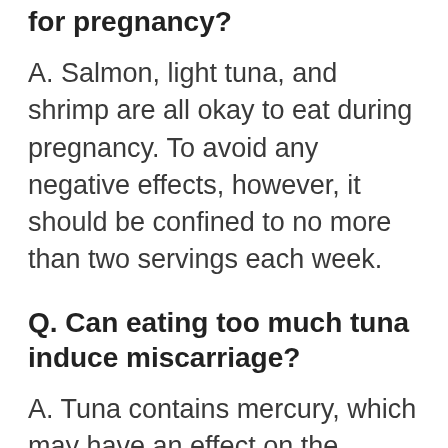for pregnancy?
A. Salmon, light tuna, and shrimp are all okay to eat during pregnancy. To avoid any negative effects, however, it should be confined to no more than two servings each week.
Q. Can eating too much tuna induce miscarriage?
A. Tuna contains mercury, which may have an effect on the development of the foetus. Before include Tuna in